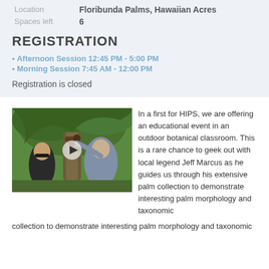Location: Floribunda Palms, Hawaiian Acres
Spaces left: 6
REGISTRATION
Afternoon Session 12:45 PM - 5:00 PM
Morning Session 7:45 AM - 12:00 PM
Registration is closed
[Figure (photo): Two men examining palm tree fruits in a tropical botanical garden setting, with lush green palm fronds in the background. A video play button overlay is visible.]
In a first for HIPS, we are offering an educational event in an outdoor botanical classroom. This is a rare chance to geek out with local legend Jeff Marcus as he guides us through his extensive palm collection to demonstrate interesting palm morphology and taxonomic